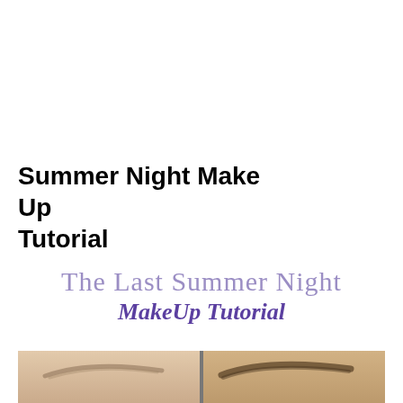Summer Night Make Up Tutorial
[Figure (illustration): Decorative text logo reading 'The Last Summer Night MakeUp Tutorial' in purple serif and italic bold fonts]
[Figure (photo): Two side-by-side close-up photos of eyebrows — before and after makeup application]